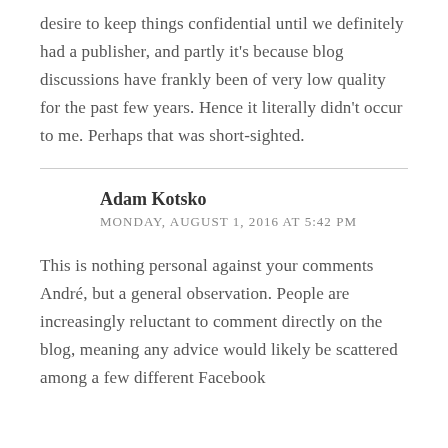desire to keep things confidential until we definitely had a publisher, and partly it's because blog discussions have frankly been of very low quality for the past few years. Hence it literally didn't occur to me. Perhaps that was short-sighted.
Adam Kotsko
MONDAY, AUGUST 1, 2016 AT 5:42 PM
This is nothing personal against your comments André, but a general observation. People are increasingly reluctant to comment directly on the blog, meaning any advice would likely be scattered among a few different Facebook